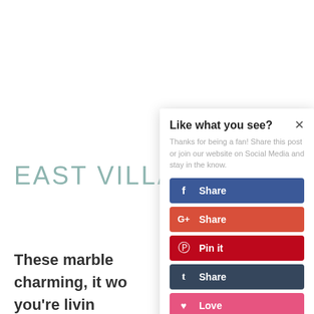EAST VILLA
These marble charming, it wo you're livin
[Figure (screenshot): Social sharing modal popup with title 'Like what you see?', description text 'Thanks for being a fan! Share this post or join our website on Social Media and stay in the know.', and five social share buttons: Facebook Share (blue), Google+ Share (red-orange), Pinterest Pin it (dark red), Tumblr Share (dark navy), Love (pink).]